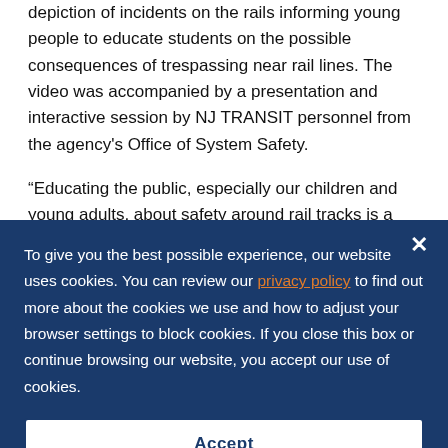depiction of incidents on the rails informing young people to educate students on the possible consequences of trespassing near rail lines. The video was accompanied by a presentation and interactive session by NJ TRANSIT personnel from the agency's Office of System Safety.
“Educating the public, especially our children and young adults, about safety around rail tracks is a top priority of our agency,” said NJ TRANSIT Executive Director Veronique
To give you the best possible experience, our website uses cookies. You can review our privacy policy to find out more about the cookies we use and how to adjust your browser settings to block cookies. If you close this box or continue browsing our website, you accept our use of cookies.
Accept